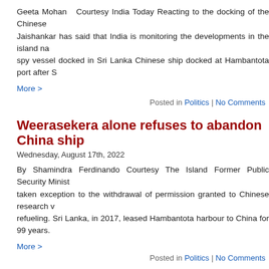Geeta Mohan  Courtesy India Today Reacting to the docking of the Chinese... Jaishankar has said that India is monitoring the developments in the island na... spy vessel docked in Sri Lanka Chinese ship docked at Hambantota port after S...
More >
Posted in Politics | No Comments
Weerasekera alone refuses to abandon China shi...
Wednesday, August 17th, 2022
By Shamindra Ferdinando Courtesy The Island Former Public Security Minist... taken exception to the withdrawal of permission granted to Chinese research v... refueling. Sri Lanka, in 2017, leased Hambantota harbour to China for 99 years.
More >
Posted in Politics | No Comments
No longer intend to criticize govt.: SJB
Wednesday, August 17th, 2022
Courtesy The Daily Mirror Three Samagi Jana Balawegaya (SJB) MPs Dr.H... Hashim today said they no longer intend to criticize the government but will... through the current economic crisis. The three MPs made this remark at a press...